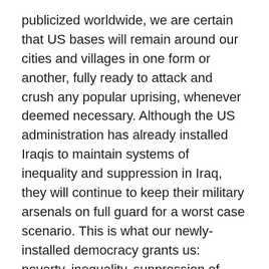publicized worldwide, we are certain that US bases will remain around our cities and villages in one form or another, fully ready to attack and crush any popular uprising, whenever deemed necessary. Although the US administration has already installed Iraqis to maintain systems of inequality and suppression in Iraq, they will continue to keep their military arsenals on full guard for a worst case scenario. This is what our newly-installed democracy grants us: poverty, inequality, suppression of dissent, and a lack of civil liberties for the vast majority of the people, especially women.
People of the world have come to refuse a culture of wars and also the “democracy” of the rich. It is time for a political system of equal wealth for all, in other words, a socialist system, where free market rules cannot starve